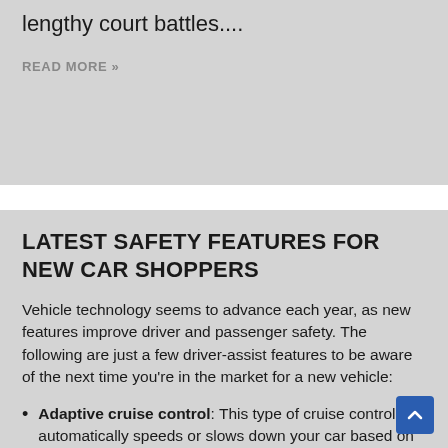lengthy court battles....
READ MORE »
LATEST SAFETY FEATURES FOR NEW CAR SHOPPERS
Vehicle technology seems to advance each year, as new features improve driver and passenger safety. The following are just a few driver-assist features to be aware of the next time you're in the market for a new vehicle:
Adaptive cruise control: This type of cruise control automatically speeds or slows down your car based on the actions of the vehicles